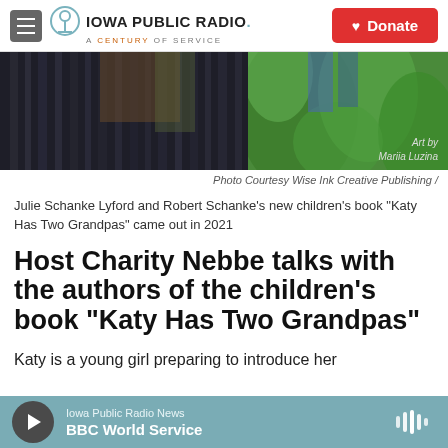Iowa Public Radio. A Century of Service | Donate
[Figure (illustration): Partial view of book cover art showing stylized dark vertical stripes on left and green foliage on right, with 'Art by Mariia Luzina' credit in lower right corner]
Photo Courtesy Wise Ink Creative Publishing /
Julie Schanke Lyford and Robert Schanke's new children's book "Katy Has Two Grandpas" came out in 2021
Host Charity Nebbe talks with the authors of the children's book "Katy Has Two Grandpas"
Katy is a young girl preparing to introduce her
Iowa Public Radio News  BBC World Service